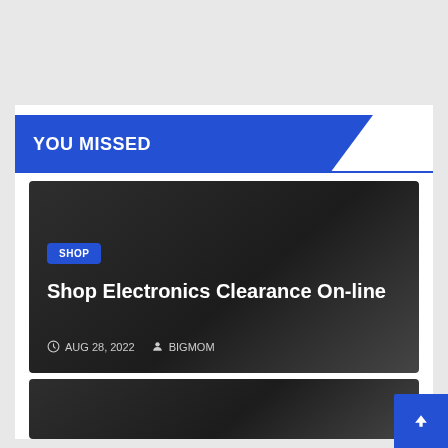YOU MISSED
[Figure (screenshot): Dark-background article card with SHOP badge, title 'Shop Electronics Clearance On-line', date AUG 28, 2022, and author BIGMOM]
SHOP
Shop Electronics Clearance On-line
AUG 28, 2022   BIGMOM
[Figure (screenshot): Second dark article card (partially visible)]